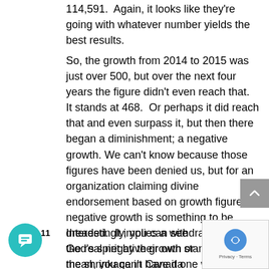114,591. Again, it looks like they're going with whatever number yields the best results.
So, the growth from 2014 to 2015 was just over 500, but over the next four years the figure didn't even reach that. It stands at 468. Or perhaps it did reach that and even surpass it, but then there began a diminishment; a negative growth. We can't know because those figures have been denied us, but for an organization claiming divine endorsement based on growth figures, negative growth is something to be dreaded. It implies a withdrawing of God's spirit by their own standard. I mean, you can't have it one way and not the other. You can't say, “Jehovah is blessing us! Look at our growth.” Then turn around and say, “Our numbers are going down. Jehovah is blessing us!”
Interestingly, you can see the real negative growth or the shrinkage in Canada over the last 10 years by looking at the publisher to population ratios. In 20 the ratio was 1 in 298, but 10 years later it stands at